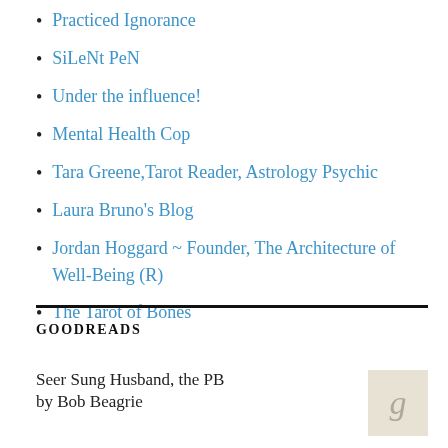Practiced Ignorance
SiLeNt PeN
Under the influence!
Mental Health Cop
Tara Greene,Tarot Reader, Astrology Psychic
Laura Bruno's Blog
Jordan Hoggard ~ Founder, The Architecture of Well-Being (R)
The Tarot of Bones
GOODREADS
Seer Sung Husband, the PB
by Bob Beagrie